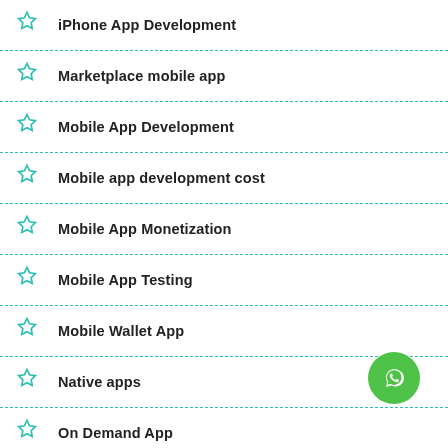iPhone App Development
Marketplace mobile app
Mobile App Development
Mobile app development cost
Mobile App Monetization
Mobile App Testing
Mobile Wallet App
Native apps
On Demand App
On-Demand Delivery App Development
Online Appointment Scheduling
React native mobile app